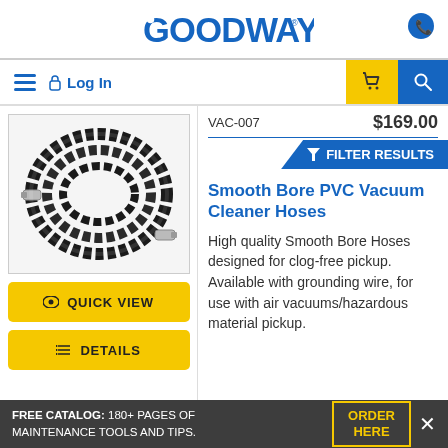GOODWAY
Smooth Bore PVC Vacuum Cleaner Hoses
High quality Smooth Bore Hoses designed for clog-free pickup. Available with grounding wire, for use with air vacuums/hazardous material pickup.
[Figure (photo): Coiled black flexible vacuum hose with metal connector ends, shown on white background]
FREE CATALOG: 180+ PAGES OF MAINTENANCE TOOLS AND TIPS.